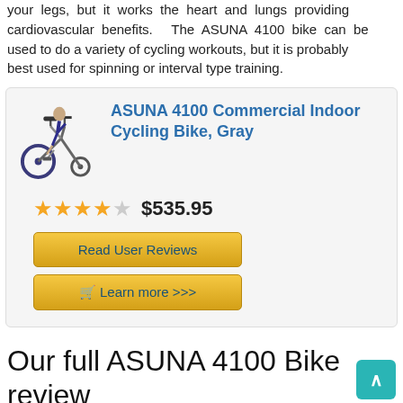your legs, but it works the heart and lungs providing cardiovascular benefits. The ASUNA 4100 bike can be used to do a variety of cycling workouts, but it is probably best used for spinning or interval type training.
[Figure (infographic): Product card for ASUNA 4100 Commercial Indoor Cycling Bike, Gray with 3.5 star rating, $535.95 price, Read User Reviews button, and Learn more button]
Our full ASUNA 4100 Bike review
The ASUNA 4100 was released for sale in 2016. SUNNY Health and and Fitness are one of the fastest growing companies in the fitness sector and have developed an